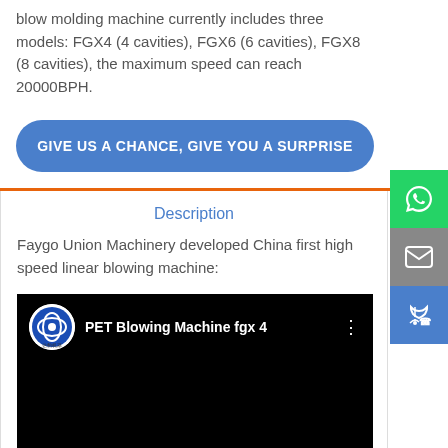blow molding machine currently includes three models: FGX4 (4 cavities), FGX6 (6 cavities), FGX8 (8 cavities), the maximum speed can reach 20000BPH.
GIVE US A CHANCE, GIVE YOU A SURPRISE
Description
Faygo Union Machinery developed China first high speed linear blowing machine:
[Figure (screenshot): YouTube video thumbnail showing 'PET Blowing Machine fgx 4' with channel logo on black background]